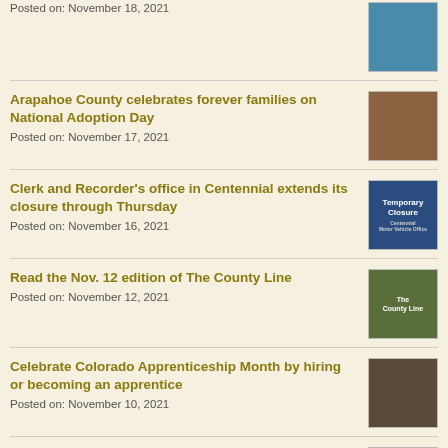Posted on: November 18, 2021
Arapahoe County celebrates forever families on National Adoption Day
Posted on: November 17, 2021
Clerk and Recorder's office in Centennial extends its closure through Thursday
Posted on: November 16, 2021
Read the Nov. 12 edition of The County Line
Posted on: November 12, 2021
Celebrate Colorado Apprenticeship Month by hiring or becoming an apprentice
Posted on: November 10, 2021
Arapahoe County Board approves new oil and gas regulations
Posted on: November 9, 2021